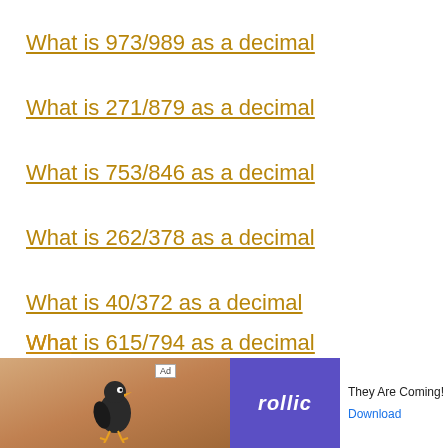What is 973/989 as a decimal
What is 271/879 as a decimal
What is 753/846 as a decimal
What is 262/378 as a decimal
What is 40/372 as a decimal
What is 615/794 as a decimal
What is 497/635 as a decimal
What is [partially visible, cut off by ad]
[Figure (screenshot): Advertisement banner at bottom: Ad label, Rollic game app ad with bird illustration on wooden background, purple logo block with 'rollic' text, tagline 'They Are Coming!', Download button in blue]